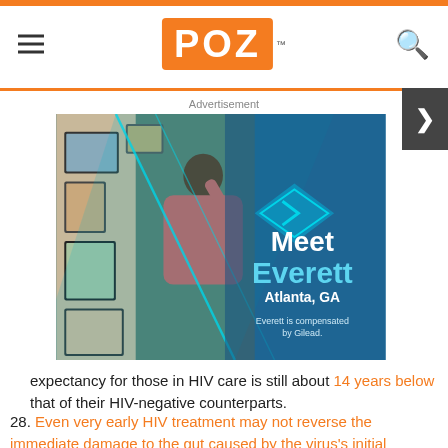POZ
Advertisement
[Figure (photo): Advertisement for Gilead featuring a man named Everett from Atlanta, GA hanging artwork on a wall. Text reads: Meet Everett, Atlanta, GA. Everett is compensated by Gilead.]
expectancy for those in HIV care is still about 14 years below that of their HIV-negative counterparts.
28. Even very early HIV treatment may not reverse the immediate damage to the gut caused by the virus's initial assault.